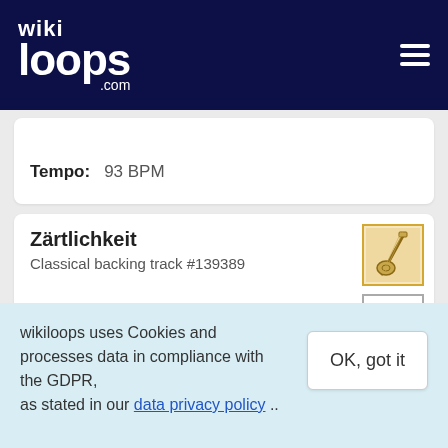wikiloops.com
Tempo: 93 BPM
Zärtlichkeit
Classical backing track #139389
Musical key: D major
Never forget
wikiloops uses Cookies and processes data in compliance with the GDPR, as stated in our data privacy policy ..